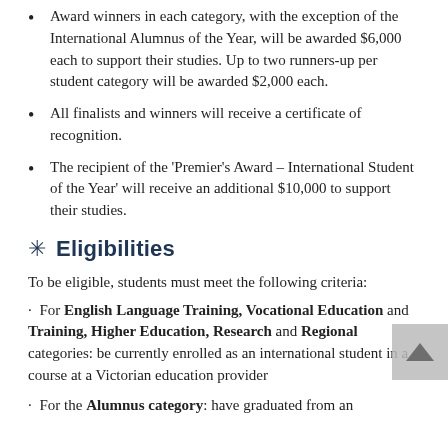Award winners in each category, with the exception of the International Alumnus of the Year, will be awarded $6,000 each to support their studies. Up to two runners-up per student category will be awarded $2,000 each.
All finalists and winners will receive a certificate of recognition.
The recipient of the 'Premier's Award – International Student of the Year' will receive an additional $10,000 to support their studies.
Eligibilities
To be eligible, students must meet the following criteria:
· For English Language Training, Vocational Education and Training, Higher Education, Research and Regional categories: be currently enrolled as an international student in a course at a Victorian education provider
· For the Alumnus category: have graduated from an